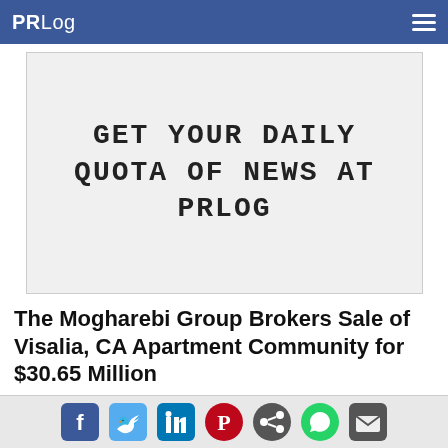PRLog
[Figure (screenshot): Advertisement banner with dark text on light gray background reading: GET YOUR DAILY QUOTA OF NEWS AT PRLOG]
The Mogharebi Group Brokers Sale of Visalia, CA Apartment Community for $30.65 Million
[Figure (photo): Exterior photo of apartment community with a large swimming pool, pool deck with lounge chairs and red umbrellas, multi-story residential buildings with balconies, trees, and blue sky in Visalia, CA]
Social sharing icons: Facebook, Twitter, LinkedIn, Pinterest, Share, WhatsApp, Email